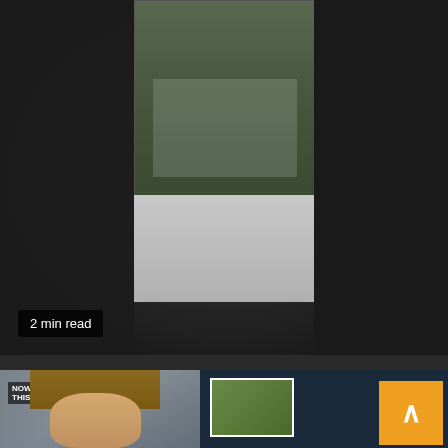[Figure (photo): CCTV footage of restaurant patio, dark background with tables and chairs visible in center frame, lighter gray area below center]
2 min read
Real News
Driver Blacks Out and Plows Into Restaurant Patio
13 hours ago  April
[Figure (photo): Bottom article card showing a person with medium-length hair on left side, and a TV news segment on right showing 'The Case' graphic with a smaller inset photo]